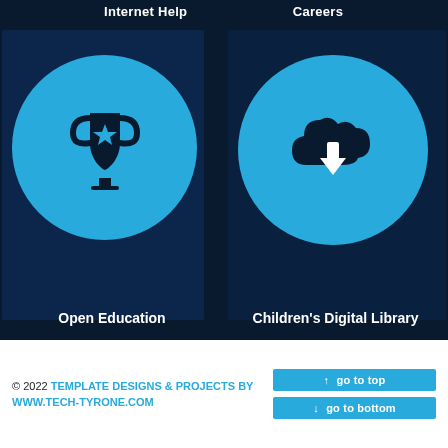Internet Help
Careers
[Figure (illustration): Blue circle with white trophy/award cup icon with a star in the center, on a dark blue background panel labeled 'Open Education']
[Figure (illustration): Blue circle with dark cloud and white download arrow icon, on a dark blue background panel labeled 'Children's Digital Library']
Open Education
Children's Digital Library
© 2022 TEMPLATE DESIGNS & PROJECTS BY WWW.TECH-TYRONE.COM